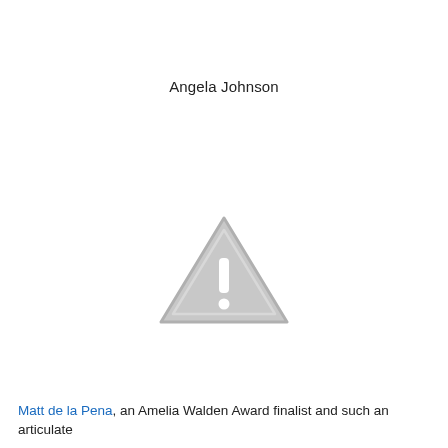Angela Johnson
[Figure (illustration): A gray warning/caution triangle icon with a white exclamation mark inside, indicating a missing or unavailable image placeholder.]
Matt de la Pena, an Amelia Walden Award finalist and such an articulate